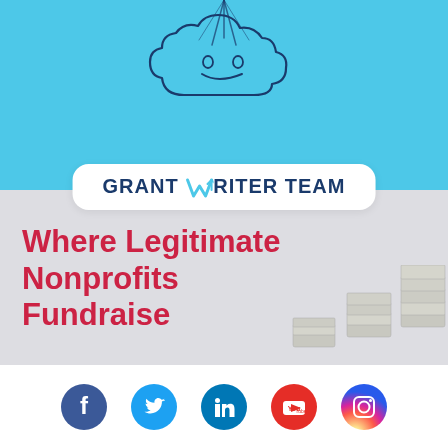[Figure (logo): Grant Writer Team logo on sky blue background with cloud illustration above. White rounded rectangle badge contains 'GRANT WRITER TEAM' text in dark blue with a teal W and upward arrow.]
[Figure (illustration): Banner image on light grey background with bold red text 'Where Legitimate Nonprofits Fundraise' and stacks of money/cash bundles in the bottom right corner.]
Where Legitimate Nonprofits Fundraise
[Figure (infographic): Social media icons row: Facebook (blue circle with f), Twitter (light blue circle with bird), LinkedIn (teal circle with in), YouTube (red circle with play button), Instagram (gradient circle with camera icon).]